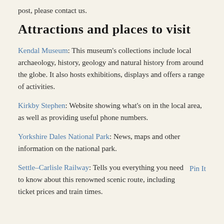post, please contact us.
Attractions and places to visit
Kendal Museum: This museum's collections include local archaeology, history, geology and natural history from around the globe. It also hosts exhibitions, displays and offers a range of activities.
Kirkby Stephen: Website showing what's on in the local area, as well as providing useful phone numbers.
Yorkshire Dales National Park: News, maps and other information on the national park.
Settle–Carlisle Railway: Tells you everything you need to know about this renowned scenic route, including ticket prices and train times.